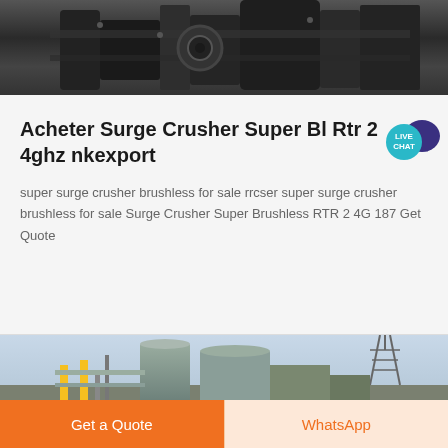[Figure (photo): Top portion of industrial machinery, dark metal equipment viewed from below, partially cropped]
Acheter Surge Crusher Super Bl Rtr 2 4ghz nkexport
super surge crusher brushless for sale rrcser super surge crusher brushless for sale Surge Crusher Super Brushless RTR 2 4G 187 Get Quote
[Figure (photo): Industrial facility with silos, metal pipes and a power transmission tower in background, overcast sky]
Get a Quote
WhatsApp